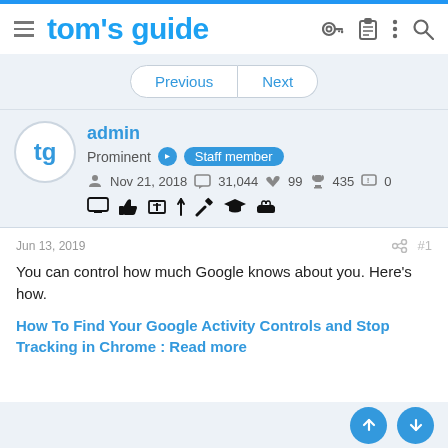tom's guide
Previous | Next
admin
Prominent Staff member
Nov 21, 2018  31,044  99  435  0
Jun 13, 2019  #1
You can control how much Google knows about you. Here's how.
How To Find Your Google Activity Controls and Stop Tracking in Chrome : Read more